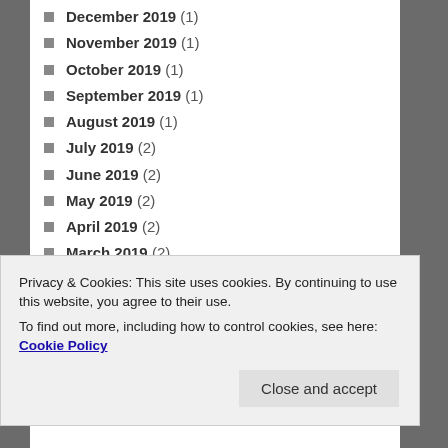December 2019 (1)
November 2019 (1)
October 2019 (1)
September 2019 (1)
August 2019 (1)
July 2019 (2)
June 2019 (2)
May 2019 (2)
April 2019 (2)
March 2019 (2)
February 2019 (2)
January 2019 (2)
December 2018 (2)
November 2018 (2)
Privacy & Cookies: This site uses cookies. By continuing to use this website, you agree to their use. To find out more, including how to control cookies, see here: Cookie Policy